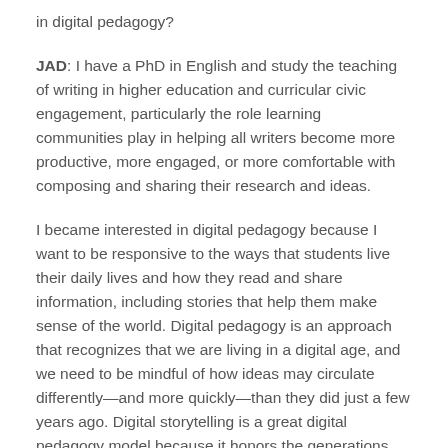in digital pedagogy?
JAD: I have a PhD in English and study the teaching of writing in higher education and curricular civic engagement, particularly the role learning communities play in helping all writers become more productive, more engaged, or more comfortable with composing and sharing their research and ideas.
I became interested in digital pedagogy because I want to be responsive to the ways that students live their daily lives and how they read and share information, including stories that help them make sense of the world. Digital pedagogy is an approach that recognizes that we are living in a digital age, and we need to be mindful of how ideas may circulate differently—and more quickly—than they did just a few years ago. Digital storytelling is a great digital pedagogy model because it honors the generations old tradition of sitting around campfires sharing stories, while also